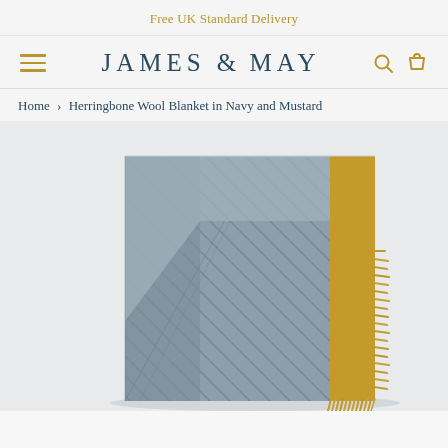Free UK Standard Delivery
JAMES & MAY
Home › Herringbone Wool Blanket in Navy and Mustard
[Figure (photo): A folded herringbone wool blanket in navy/grey and mustard yellow, with mustard fringe trim, photographed against a light background.]